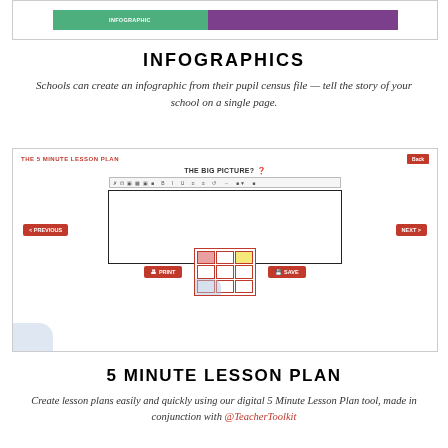[Figure (screenshot): Top portion of a screenshot showing a bar chart with a green bar and a purple bar]
INFOGRAPHICS
Schools can create an infographic from their pupil census file — tell the story of your school on a single page.
[Figure (screenshot): Screenshot of 'The 5 Minute Lesson Plan' web tool showing 'THE BIG PICTURE?' text editor area with toolbar, navigation buttons (< PREVIOUS, NEXT >), PRINT and SAVE buttons, and a thumbnail of the lesson plan template]
5 MINUTE LESSON PLAN
Create lesson plans easily and quickly using our digital 5 Minute Lesson Plan tool, made in conjunction with @TeacherToolkit.